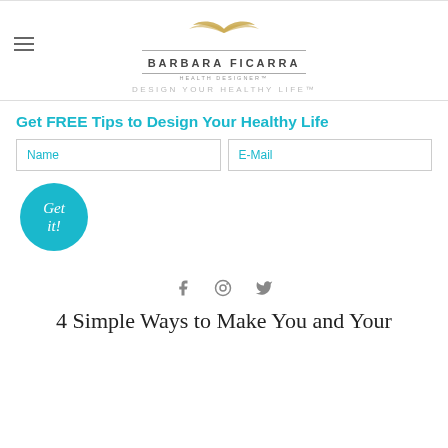[Figure (logo): Barbara Ficarra Health Designer logo with golden wings above the brand name, with tagline DESIGN YOUR HEALTHY LIFE™]
Get FREE Tips to Design Your Healthy Life
Name | E-Mail (form fields)
[Figure (other): Teal circular button with italic text 'Get it!']
[Figure (other): Social media icons: Facebook, Pinterest, Twitter]
4 Simple Ways to Make You and Your